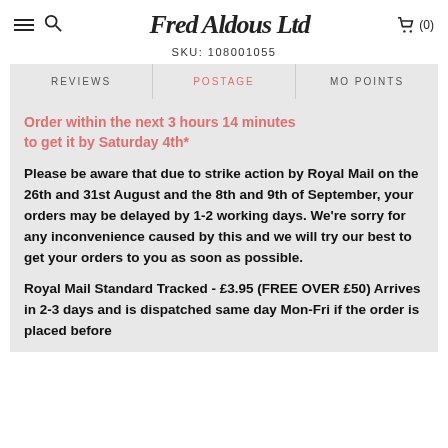Fred Aldous Ltd
SKU: 108001055
REVIEWS | POSTAGE | MO POINTS
Order within the next 3 hours 14 minutes to get it by Saturday 4th*
Please be aware that due to strike action by Royal Mail on the 26th and 31st August and the 8th and 9th of September, your orders may be delayed by 1-2 working days. We're sorry for any inconvenience caused by this and we will try our best to get your orders to you as soon as possible.
Royal Mail Standard Tracked - £3.95 (FREE OVER £50) Arrives in 2-3 days and is dispatched same day Mon-Fri if the order is placed before